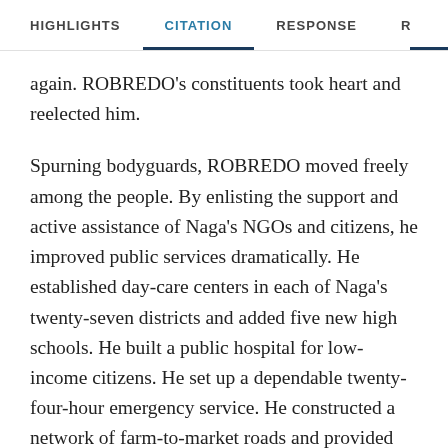HIGHLIGHTS   CITATION   RESPONSE   R
again. ROBREDO's constituents took heart and reelected him.
Spurning bodyguards, ROBREDO moved freely among the people. By enlisting the support and active assistance of Naga's NGOs and citizens, he improved public services dramatically. He established day-care centers in each of Naga's twenty-seven districts and added five new high schools. He built a public hospital for low-income citizens. He set up a dependable twenty-four-hour emergency service. He constructed a network of farm-to-market roads and provided clean and reliable water systems in Naga's rural communities. He launched programs for youth, farmers, laborers,